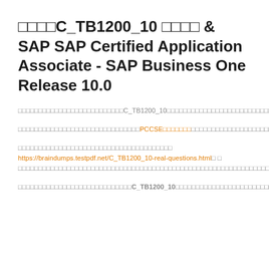□□□□C_TB1200_10 □□□□ & SAP SAP Certified Application Associate - SAP Business One Release 10.0
□□□□□□□□□□□□□□□□□□□□□□□□□□C_TB1200_10□□□□□□□□□□□□□□□□□□□□□□□□□□□□□□□□□□□□□□□□□□□□□□□□□□□□□□□□□□□
□□□□□□□□□□□□□□□□□□□□□□□□□□□□□□PCCSE□□□□□□□□□□□□□□□□□□□□□□□□□□□□□□□□□□□□□□□□□□□□□□□□□□□□□□□□□□□□□□
□□□□□□□□□□□□□□□□□□□□□□□□□□□□□□□□□□□□□□
https://braindumps.testpdf.net/C_TB1200_10-real-questions.html□ □
□□□□□□□□□□□□□□□□□□□□□□□□□□□□□□□□□□□□□□□□□□□□□□□□□□□□□□□□□□□□□□□□
□□□□□□□□□□□□□□□□□□□□□□□□□□□□C_TB1200_10□□□□□□□□□□□□□□□□□□□□□□□□□□□□□□□□□□□□□□□□□□□□□□□□□□□□□□□□□□□□